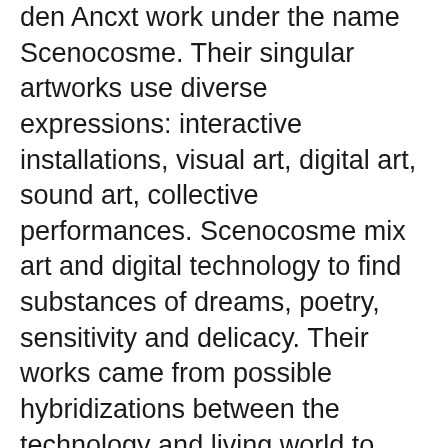den Ancxt work under the name Scenocosme. Their singular artworks use diverse expressions: interactive installations, visual art, digital art, sound art, collective performances. Scenocosme mix art and digital technology to find substances of dreams, poetry, sensitivity and delicacy. Their works came from possible hybridizations between the technology and living world to invent sensitive and poetic languages. Their artworks are exhibited in numerous museums, contemporary art centres and digital art festivals in the world. Metamorphy is a visual and sonorous interactive artwork.
Spectators are invited to touch and explore the depth of the semi-transparent veil. This symbolic skin has an elasticity which is incorporated within